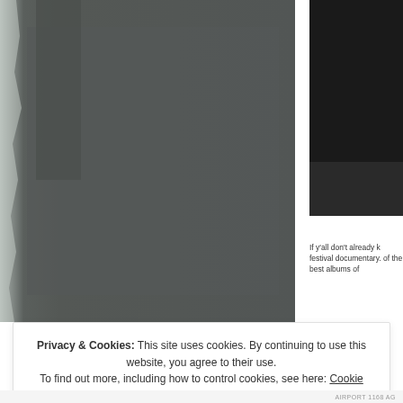[Figure (photo): Large dark gray/charcoal photo occupying left portion of the page, appears to be a person or abstract shadowy image]
[Figure (photo): Smaller dark/black rectangle in upper right corner of the page]
If y'all don't already k festival documentary. of the best albums of
Privacy & Cookies: This site uses cookies. By continuing to use this website, you agree to their use. To find out more, including how to control cookies, see here: Cookie Policy
Close and accept
AIRPORT 1168 AG